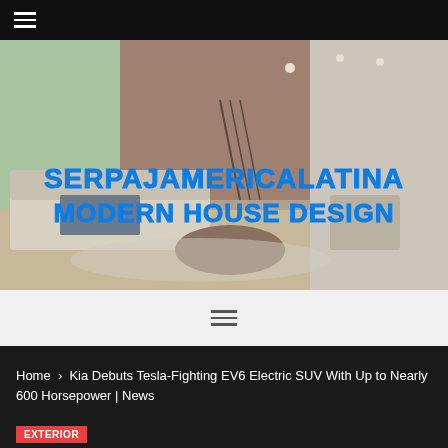☰ (hamburger menu)
[Figure (photo): Modern luxury living room interior with large sectional sofa, round wooden coffee table, open layout with glass walls and staircase in background. Overlay text reads 'SERPAJAMERICALATINA MODERN HOUSE DESIGN' in bold blue outlined letters.]
[Figure (other): Hamburger menu icon (three horizontal lines) centered on a light gray navigation bar.]
Home > Kia Debuts Tesla-Fighting EV6 Electric SUV With Up to Nearly 600 Horsepower | News
EXTERIOR